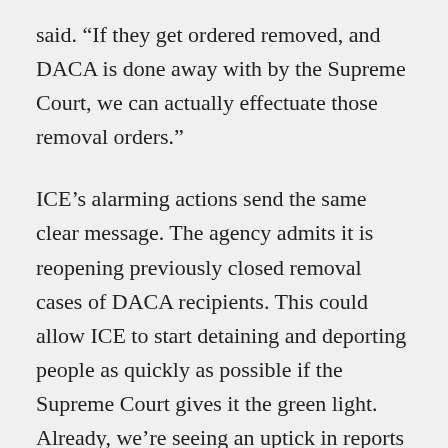said. “If they get ordered removed, and DACA is done away with by the Supreme Court, we can actually effectuate those removal orders.”
ICE’s alarming actions send the same clear message. The agency admits it is reopening previously closed removal cases of DACA recipients. This could allow ICE to start detaining and deporting people as quickly as possible if the Supreme Court gives it the green light. Already, we’re seeing an uptick in reports of Dreamers being detained, including in Connecticut, Arkansas and California. This isn’t a hypothetical; this is now.
Trump has stated frequently that he expects the court to decide in his favor and that he will use the ruling to force an immigration deal in Congress. His intention is to use the